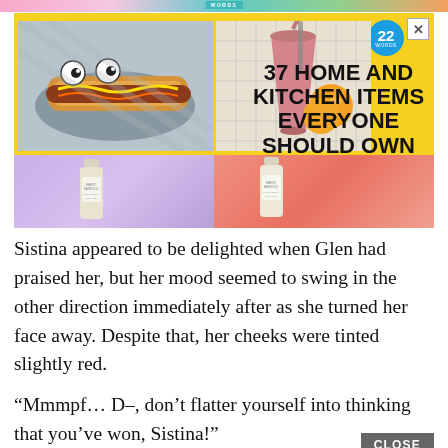[Figure (screenshot): Website screenshot showing an advertisement banner with yellow background. Ad features two photos (decorated hot dogs and a pink tumbler with fruit), a circular blue badge with '22', and bold text '37 HOME AND KITCHEN ITEMS EVERYONE SHOULD OWN'. Below the ad is a partial photo of Mario Badescu skincare bottles on colorful backgrounds.]
Sistina appeared to be delighted when Glen had praised her, but her mood seemed to swing in the other direction immediately after as she turned her face away. Despite that, her cheeks were tinted slightly red.
“Mmmpf… D–, don’t flatter yourself into thinking that you’ve won, Sistina!”
Wendy frustratedly bit on her handkerchief as she sent a stern glare towards Sistina.